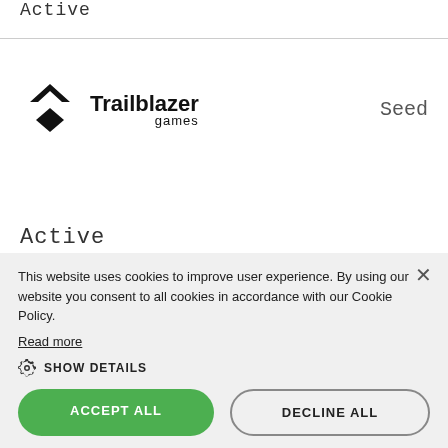Active
[Figure (logo): Trailblazer Games logo with upward chevron/arrow icon above a diamond shape, followed by bold text 'Trailblazer' and smaller text 'games']
Seed
Active
This website uses cookies to improve user experience. By using our website you consent to all cookies in accordance with our Cookie Policy. Read more
SHOW DETAILS
ACCEPT ALL
DECLINE ALL